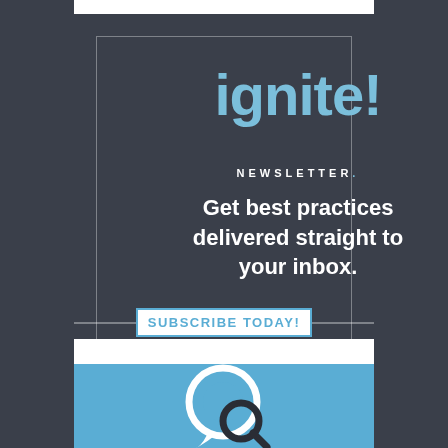[Figure (logo): Ignite! Newsletter advertisement. Dark blue-grey background with inner border frame. Logo reads 'ignite!' in large light blue text with 'NEWSLETTER' below in white small caps. Tagline: 'Get best practices delivered straight to your inbox.' Subscribe Today button in white with blue text at bottom.]
[Figure (illustration): Light blue background with a white speech bubble / chat icon graphic and a dark cursor/link icon overlapping it, partially visible at bottom of page.]